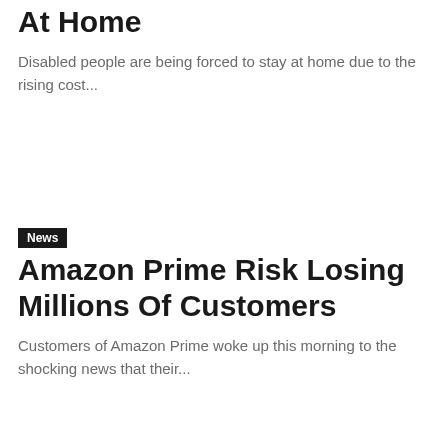At Home
Disabled people are being forced to stay at home due to the rising cost...
News
Amazon Prime Risk Losing Millions Of Customers
Customers of Amazon Prime woke up this morning to the shocking news that their...